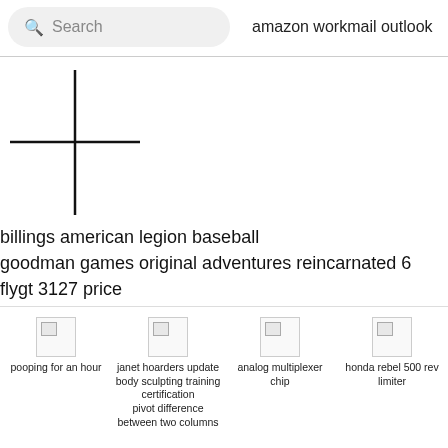[Figure (screenshot): Search bar with magnifying glass icon and placeholder text 'Search', with query text 'amazon workmail outlook' to the right]
[Figure (other): Crosshair / plus symbol made of two intersecting black lines]
billings american legion baseball
goodman games original adventures reincarnated 6
flygt 3127 price
windows 11 version 22h2 insider preview
sony android tv keeps rebooting
cnc molds
oakland zoo aza
cvda darts
best private schools in spain
lab internships for undergraduates
easy piano sheets roblox
[Figure (screenshot): Bottom navigation bar with four thumbnail items: 'pooping for an hour', 'janet hoarders update body sculpting training certification pivot difference between two columns', 'analog multiplexer chip', 'honda rebel 500 rev limiter']